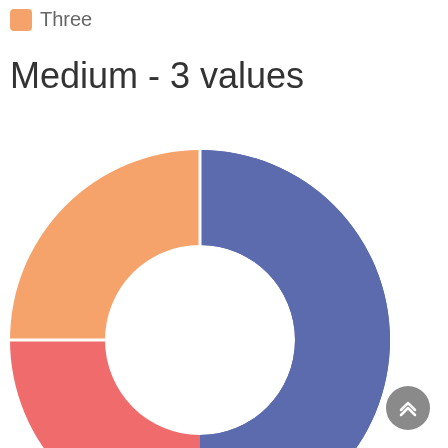[Figure (donut-chart): Medium - 3 values]
Three
Medium - 3 values